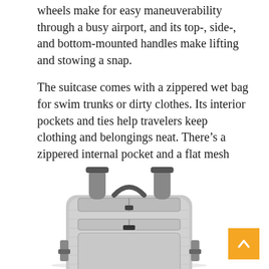wheels make for easy maneuverability through a busy airport, and its top-, side-, and bottom-mounted handles make lifting and stowing a snap.
The suitcase comes with a zippered wet bag for swim trunks or dirty clothes. Its interior pockets and ties help travelers keep clothing and belongings neat. There's a zippered internal pocket and a flat mesh pocket for storing clothes, books, or other items, and the main compartment features two separate elastic straps for securing clothing. Even with all these features, the SwissGear Sion weighs just 8 pounds.
[Figure (photo): Photo of a gray SwissGear backpack with multiple zippers, a top handle, and side handles, shown against a white background.]